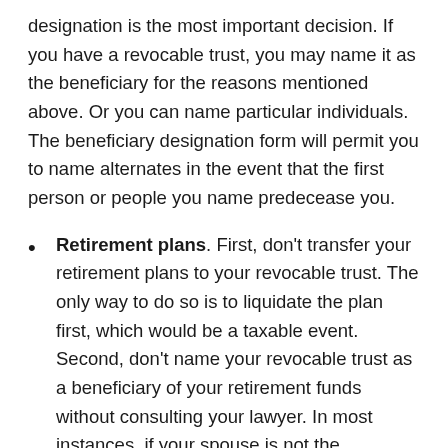designation is the most important decision. If you have a revocable trust, you may name it as the beneficiary for the reasons mentioned above. Or you can name particular individuals. The beneficiary designation form will permit you to name alternates in the event that the first person or people you name predecease you.
Retirement plans. First, don't transfer your retirement plans to your revocable trust. The only way to do so is to liquidate the plan first, which would be a taxable event. Second, don't name your revocable trust as a beneficiary of your retirement funds without consulting your lawyer. In most instances, if your spouse is not the beneficiary, the retirement plan will